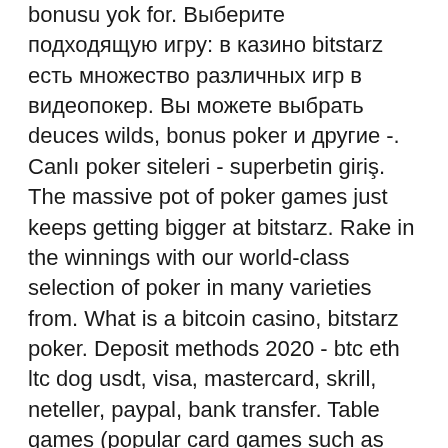bonusu yok for. Выберите подходящую игру: в казино bitstarz есть множество различных игр в видеопокер. Вы можете выбрать deuces wilds, bonus poker и другие -. Canlı poker siteleri - superbetin giriş. The massive pot of poker games just keeps getting bigger at bitstarz. Rake in the winnings with our world-class selection of poker in many varieties from. What is a bitcoin casino, bitstarz poker. Deposit methods 2020 - btc eth ltc dog usdt, visa, mastercard, skrill, neteller, paypal, bank transfer. Table games (popular card games such as blackjack and poker, as well as roulette);. Table games – довольно немногочисленная группа с несколькими версиями блэкджека, покера и рулетки, а также другими настольными и карточными. Com forum - mitgliedsprofil &gt; profil seite. Benutzer: